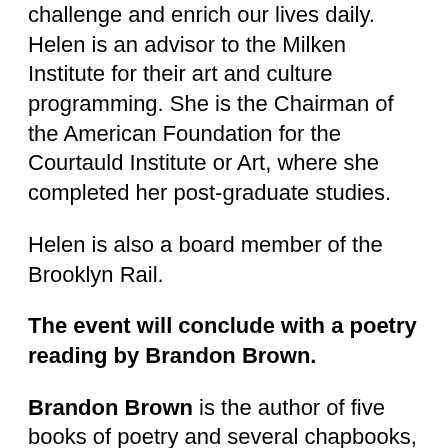challenge and enrich our lives daily. Helen is an advisor to the Milken Institute for their art and culture programming. She is the Chairman of the American Foundation for the Courtauld Institute or Art, where she completed her post-graduate studies.
Helen is also a board member of the Brooklyn Rail.
The event will conclude with a poetry reading by Brandon Brown.
Brandon Brown is the author of five books of poetry and several chapbooks, as well as three collaborative volumes of Christmas poems with J. Gordon Faylor, most recently The Cloth Bag. His poems and prose have recently appeared in Art in America, Open Space, Fanzine, Art Practical